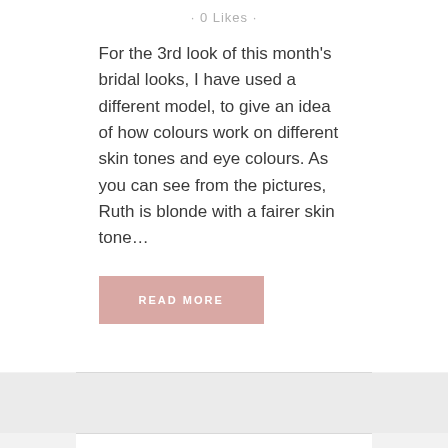· 0 Likes ·
For the 3rd look of this month's bridal looks, I have used a different model, to give an idea of how colours work on different skin tones and eye colours. As you can see from the pictures, Ruth is blonde with a fairer skin tone...
READ MORE
04 APR SOFT
BRIDAL BRID...